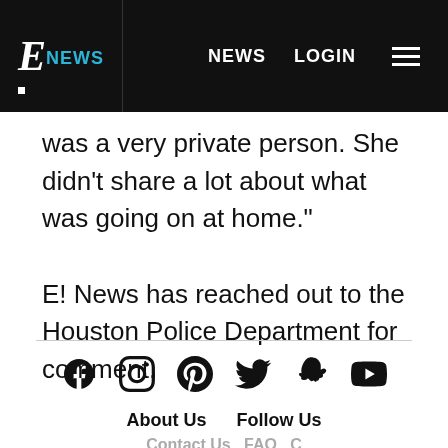E! NEWS  NEWS  LOGIN
was a very private person. She didn't share a lot about what was going on at home."
E! News has reached out to the Houston Police Department for comment.
Social icons: Facebook, Instagram, Pinterest, Twitter, Snapchat, YouTube | About Us  Follow Us